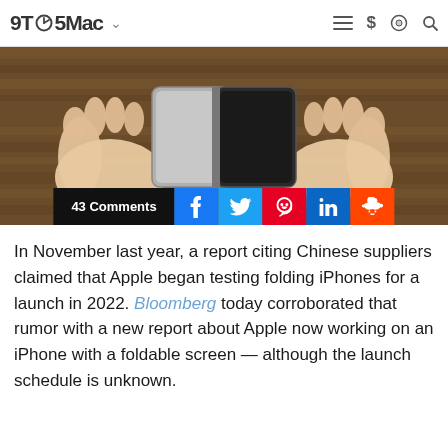9TO5Mac
[Figure (photo): Hands holding a folding smartphone device, viewed from above against a wooden table background]
43 Comments
In November last year, a report citing Chinese suppliers claimed that Apple began testing folding iPhones for a launch in 2022. Bloomberg today corroborated that rumor with a new report about Apple now working on an iPhone with a foldable screen — although the launch schedule is unknown.